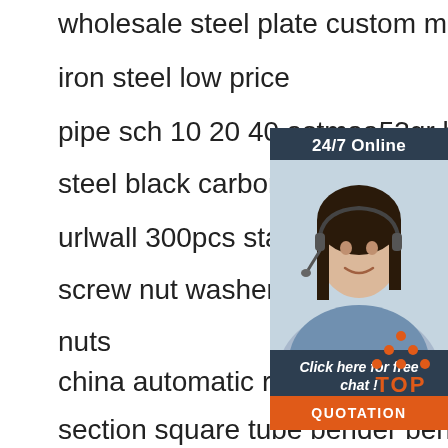wholesale steel plate custom metal plate
iron steel low price
pipe sch 10 20 40 astmaa53gr b carbon steel black carbon steel pipe
urlwall 300pcs stainless steel flat head screw nut washer assortment set machine nuts
china automatic round bar pipe hollow section square tube bender bending
good price carbon steel flat head screw high temperature resistant convenient non-standard screws
assemble hand trolley alum tube lean pipe
[Figure (photo): Customer service agent woman with headset smiling, with 24/7 Online label, Click here for free chat text, and QUOTATION button on dark blue background]
[Figure (logo): TOP logo with orange dots arranged in triangle above the word TOP in orange]